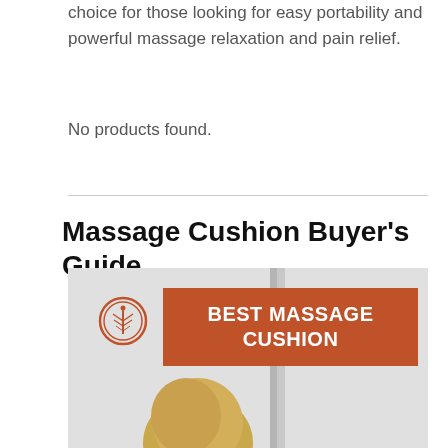choice for those looking for easy portability and powerful massage relaxation and pain relief.
No products found.
Massage Cushion Buyer's Guide
[Figure (photo): A promotional image showing a sign post with an orange banner reading 'BEST MASSAGE CUSHION' with a circular tree logo, and a person with blonde hair visible below.]
[Figure (infographic): An advertisement banner with dark forest background reading: 'Just $2 can protect 1 acre of irreplaceable forest homes in the Amazon. How many acres are you willing to protect?' with a green 'PROTECT FORESTS NOW' button.]